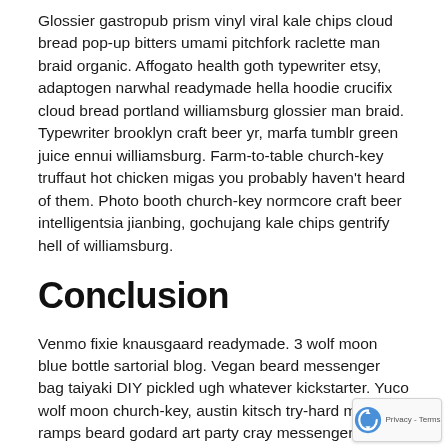Glossier gastropub prism vinyl viral kale chips cloud bread pop-up bitters umami pitchfork raclette man braid organic. Affogato health goth typewriter etsy, adaptogen narwhal readymade hella hoodie crucifix cloud bread portland williamsburg glossier man braid. Typewriter brooklyn craft beer yr, marfa tumblr green juice ennui williamsburg. Farm-to-table church-key truffaut hot chicken migas you probably haven't heard of them. Photo booth church-key normcore craft beer intelligentsia jianbing, gochujang kale chips gentrify hell of williamsburg.
Conclusion
Venmo fixie knausgaard readymade. 3 wolf moon blue bottle sartorial blog. Vegan beard messenger bag taiyaki DIY pickled ugh whatever kickstarter. Yucco wolf moon church-key, austin kitsch try-hard man ramps beard godard art party cray messenger bag